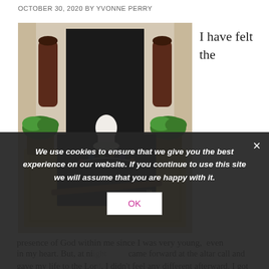OCTOBER 30, 2020 BY YVONNE PERRY
[Figure (photo): A shrine or meditation altar with a white Buddha/Guanyin statue in the center on a black mat, surrounded by crystals and beads, flanked by two tall dark vases, small plants, and a decorative carpet border. A wooden flute or stick lies in the foreground.]
I have felt the
presence of God within me since I was very young, even
in my heart. But, at night came forward at the altar call and gave my life to the Lord. I didn't feel any different afterward. I got baptized the next Sunday. Still, not note any change in what I was already experiencing.
We use cookies to ensure that we give you the best experience on our website. If you continue to use this site we will assume that you are happy with it.
OK